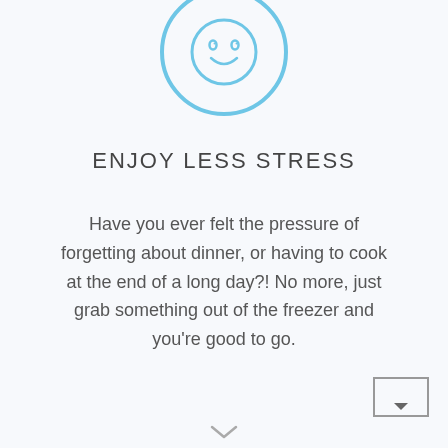[Figure (illustration): Light blue circle with a smiley face icon inside]
ENJOY LESS STRESS
Have you ever felt the pressure of forgetting about dinner, or having to cook at the end of a long day?! No more, just grab something out of the freezer and you're good to go.